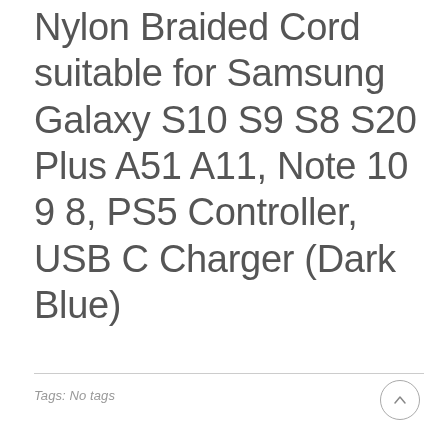Nylon Braided Cord suitable for Samsung Galaxy S10 S9 S8 S20 Plus A51 A11, Note 10 9 8, PS5 Controller, USB C Charger (Dark Blue)
Tags: No tags